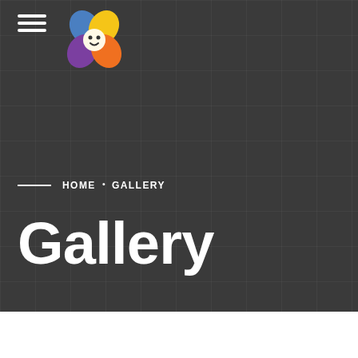[Figure (logo): Colorful flower/clover logo with four petals: blue, yellow, purple, orange, with a small cute face]
HOME • GALLERY
Gallery